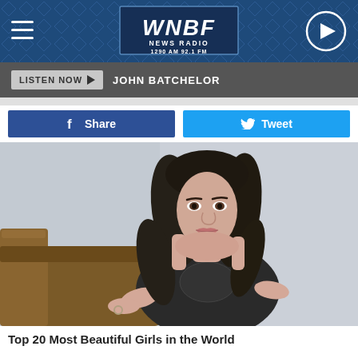[Figure (screenshot): WNBF News Radio website header with logo, hamburger menu, and play button on blue patterned background]
LISTEN NOW  JOHN BATCHELOR
[Figure (screenshot): Social sharing buttons: Facebook Share button (dark blue) and Twitter Tweet button (light blue)]
[Figure (photo): Young woman with long dark wavy hair, wearing a dark embellished dress, seated on a brown leather sofa, looking at camera]
Top 20 Most Beautiful Girls in the World